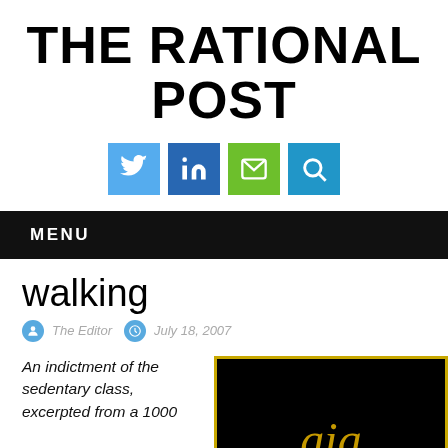THE RATIONAL POST
[Figure (infographic): Social media icons: Twitter (light blue), LinkedIn (dark blue), Email (green), Search (blue)]
MENU
walking
The Editor  July 18, 2007
An indictment of the sedentary class, excerpted from a 1000...
[Figure (photo): Dark image with gold border and partial yellow/gold logo at bottom center]